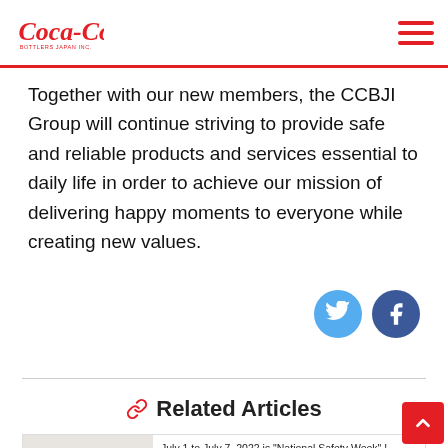Coca-Cola Bottlers Japan Inc. — navigation header
Together with our new members, the CCBJI Group will continue striving to provide safe and reliable products and services essential to daily life in order to achieve our mission of delivering happy moments to everyone while creating new values.
[Figure (illustration): Twitter and Facebook social media icon buttons (blue circles with bird and f logos)]
Related Articles
[Figure (photo): Coca-Cola branded vehicle/sign with Coca-Cola logo in red script]
July 1 to July 7, 2022 is "National Safety Week" ! Introducing the "Safety Learning Center" at